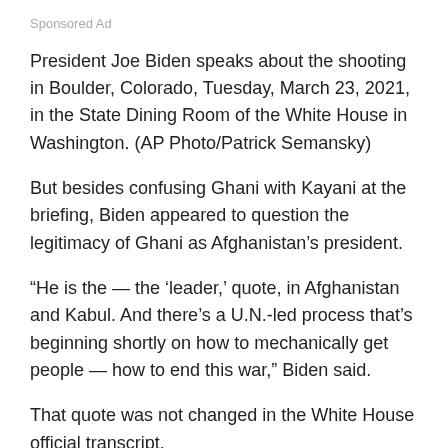Sponsored Ad
President Joe Biden speaks about the shooting in Boulder, Colorado, Tuesday, March 23, 2021, in the State Dining Room of the White House in Washington. (AP Photo/Patrick Semansky)
But besides confusing Ghani with Kayani at the briefing, Biden appeared to question the legitimacy of Ghani as Afghanistan's president.
“He is the — the ‘leader,’ quote, in Afghanistan and Kabul. And there’s a U.N.-led process that’s beginning shortly on how to mechanically get people — how to end this war,” Biden said.
That quote was not changed in the White House official transcript.